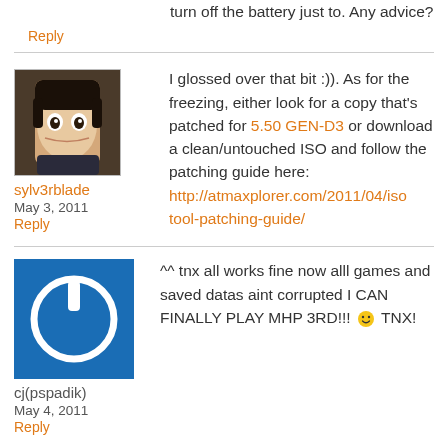turn off the battery just to. Any advice?
Reply
[Figure (photo): Avatar image of sylv3rblade, anime-style character with dark hair]
sylv3rblade
May 3, 2011
Reply
I glossed over that bit :)). As for the freezing, either look for a copy that's patched for 5.50 GEN-D3 or download a clean/untouched ISO and follow the patching guide here: http://atmaxplorer.com/2011/04/isotool-patching-guide/
[Figure (logo): Blue square with white power button icon — default avatar for cj(pspadik)]
cj(pspadik)
May 4, 2011
Reply
^^ tnx all works fine now alll games and saved datas aint corrupted I CAN FINALLY PLAY MHP 3RD!!! 🙂 TNX!
[Figure (photo): Partial avatar of Audrius, blue-themed image]
Audrius
Hi I have 5.50 prometheus-4 and Can